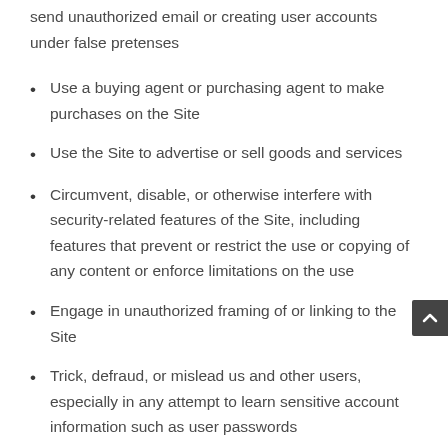send unauthorized email or creating user accounts under false pretenses
Use a buying agent or purchasing agent to make purchases on the Site
Use the Site to advertise or sell goods and services
Circumvent, disable, or otherwise interfere with security-related features of the Site, including features that prevent or restrict the use or copying of any content or enforce limitations on the use
Engage in unauthorized framing of or linking to the Site
Trick, defraud, or mislead us and other users, especially in any attempt to learn sensitive account information such as user passwords
Make improper use of our support services, or submit false reports of abuse or misconduct